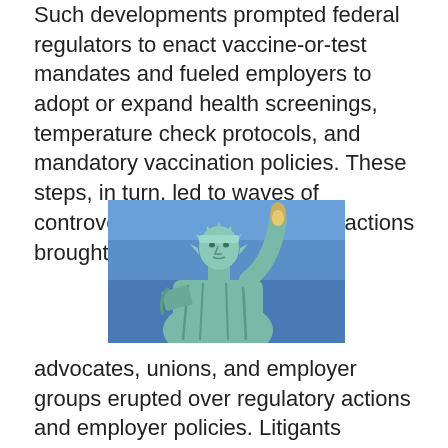Such developments prompted federal regulators to enact vaccine-or-test mandates and fueled employers to adopt or expand health screenings, temperature check protocols, and mandatory vaccination policies. These steps, in turn, led to waves of controversy as workplace class actions brought by states, employee
[Figure (photo): Photograph of the Statue of Liberty's upper body and crown against a blue sky background, showing the iconic torch-bearing arm raised, green-tinted copper patina visible]
advocates, unions, and employer groups erupted over regulatory actions and employer policies. Litigants challenged agency rule-making contending that it exceeded executive authority to regulate